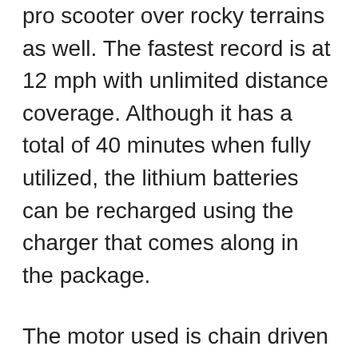pro scooter over rocky terrains as well. The fastest record is at 12 mph with unlimited distance coverage. Although it has a total of 40 minutes when fully utilized, the lithium batteries can be recharged using the charger that comes along in the package.
The motor used is chain driven and with a new gear ratio, with a twist grip throttle. For all that extra coasting, there is a rear sprocket drive train with freewheel. Also, the wheel power is durable due to the heavy duty alloy wheels with 60 PSI off road tires. The